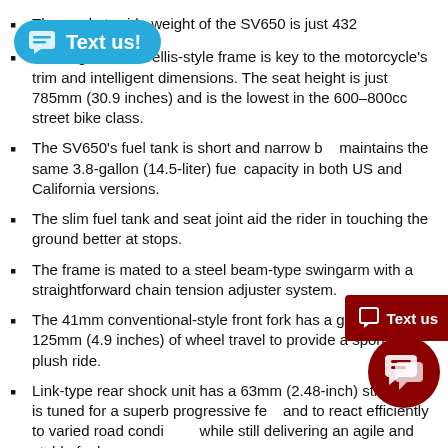The ready-to-ride weight of the SV650 is just 432
...strength steel, trellis-style frame is key to the motorcycle's trim and intelligent dimensions. The seat height is just 785mm (30.9 inches) and is the lowest in the 600–800cc street bike class.
The SV650's fuel tank is short and narrow but maintains the same 3.8-gallon (14.5-liter) fuel capacity in both US and California versions.
The slim fuel tank and seat joint aid the rider in touching the ground better at stops.
The frame is mated to a steel beam-type swingarm with a straightforward chain tension adjuster system.
The 41mm conventional-style front fork has a generous 125mm (4.9 inches) of wheel travel to provide a sporty but plush ride.
Link-type rear shock unit has a 63mm (2.48-inch) stroke and is tuned for a superb progressive feel and to react efficiently to varied road conditions while still delivering an agile and stable feel.
The rear shock's spring preload is seven-way adjustable so you can easily adjust for a passenger